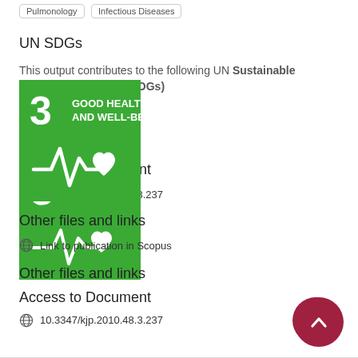Pulmonology
Infectious Diseases
UN SDGs
This output contributes to the following UN Sustainable Development Goals (SDGs)
[Figure (illustration): UN SDG 3 badge: Good Health and Well-Being. Green square with number 3, text GOOD HEALTH AND WELL-BEING, and a white health/heartbeat icon with a heart.]
Access to Document
10.3347/kjp.2010.48.3.237
Other files and links
Link to publication in Scopus